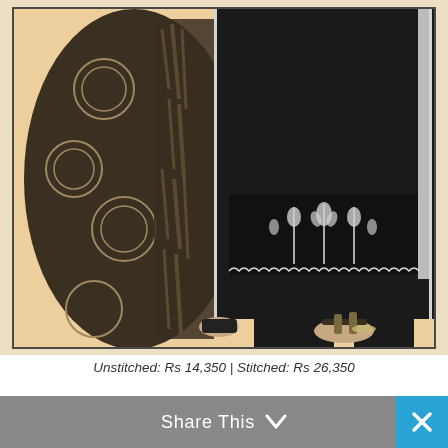[Figure (photo): A fashion photograph showing a model wearing a black embroidered Pakistani suit (kameez) with white lace trim, black trousers, and sandals. The model is also draped with a printed dupatta featuring circular floral and nature motifs in black and beige. The background is a warm peach/cream tone. Only the lower half of the model is visible.]
Unstitched: Rs 14,350 | Stitched: Rs 26,350
Share This ∨